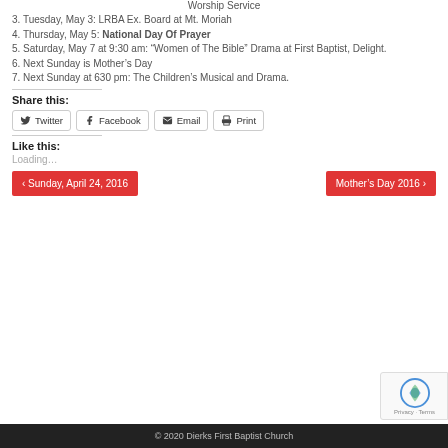Worship Service
3. Tuesday, May 3: LRBA Ex. Board at Mt. Moriah
4. Thursday, May 5: National Day Of Prayer
5. Saturday, May 7 at 9:30 am: “Women of The Bible” Drama at First Baptist, Delight.
6. Next Sunday is Mother’s Day
7. Next Sunday at 630 pm: The Children’s Musical and Drama.
Share this:
Twitter | Facebook | Email | Print
Like this:
Loading...
‹ Sunday, April 24, 2016
Mother’s Day 2016 ›
© 2020 Dierks First Baptist Church